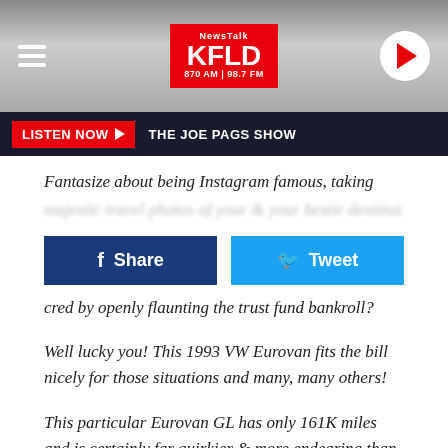[Figure (screenshot): NewsTalk KFLD 870 AM / 98.7 FM radio station header logo on gradient grey background with hamburger menu on left and play button on right]
LISTEN NOW ▶  THE JOE PAGS SHOW
Fantasize about being Instagram famous, taking
cred by openly flaunting the trust fund bankroll?
Well lucky you! This 1993 VW Eurovan fits the bill nicely for those situations and many, many others!
This particular Eurovan GL has only 161K miles and is certainly far quirkier & more endearing than any mommy missiles that rolled off the line in America